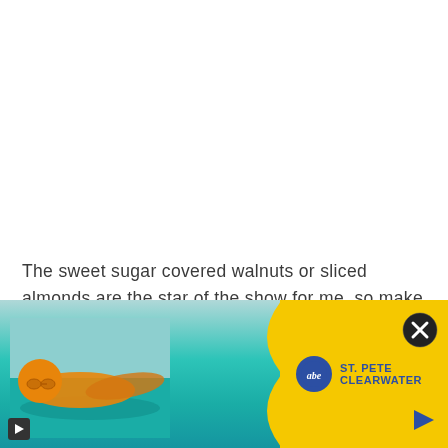The sweet sugar covered walnuts or sliced almonds are the star of the show for me, so make sure to not cheat your way through prepping them! I like to at least triple the batch of sliced almonds and keep
[Figure (photo): Advertisement banner at the bottom of the page. Left portion shows a thermal/infrared style image of a swimmer in teal/turquoise water with an orange-tinted figure. Right portion is yellow with the St. Pete Clearwater tourism logo (blue circle with stylized text). A close button (X in a dark circle) is in the upper right of the ad. A small play icon is in the lower left corner. A blue triangle arrow is in the lower right of the yellow section.]